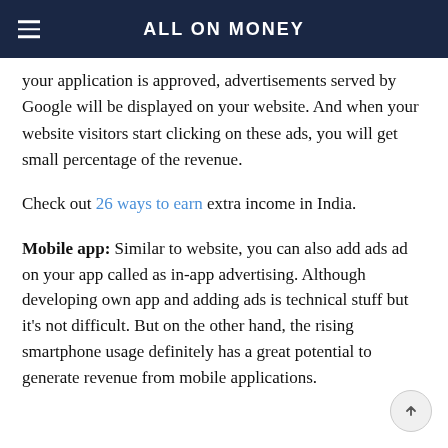ALL ON MONEY
your application is approved, advertisements served by Google will be displayed on your website. And when your website visitors start clicking on these ads, you will get small percentage of the revenue.
Check out 26 ways to earn extra income in India.
Mobile app: Similar to website, you can also add ads ad on your app called as in-app advertising. Although developing own app and adding ads is technical stuff but it's not difficult. But on the other hand, the rising smartphone usage definitely has a great potential to generate revenue from mobile applications.